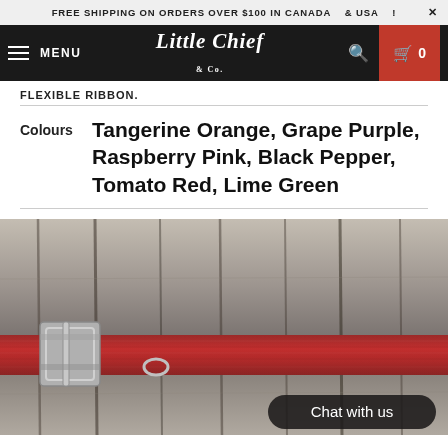FREE SHIPPING ON ORDERS OVER $100 IN CANADA  & USA  ! X
MENU  Little Chief Co.  0
FLEXIBLE RIBBON.
Colours   Tangerine Orange, Grape Purple, Raspberry Pink, Black Pepper, Tomato Red, Lime Green
[Figure (photo): A red nylon dog collar with a metal buckle photographed against a weathered grey wooden plank background. A 'Chat with us' button overlay is visible in the bottom right.]